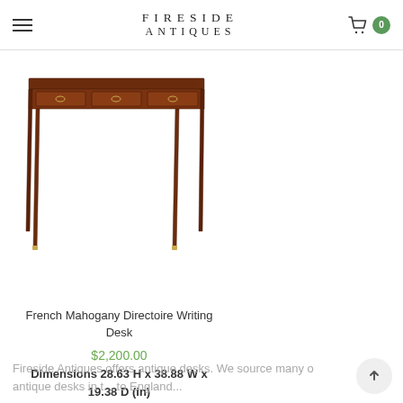FIRESIDE ANTIQUES
[Figure (photo): Antique French mahogany Directoire writing desk with tapered legs, three drawers with brass ring pulls, viewed from a three-quarter angle against a white background.]
French Mahogany Directoire Writing Desk
$2,200.00
Dimensions 28.63 H x 38.88 W x 19.38 D (in)
Fireside Antiques offers antique desks. We source many o... antique desks in t... to England...